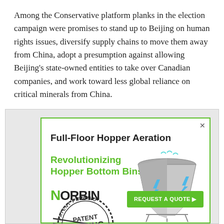Among the Conservative platform planks in the election campaign were promises to stand up to Beijing on human rights issues, diversify supply chains to move them away from China, adopt a presumption against allowing Beijing's state-owned entities to take over Canadian companies, and work toward less global reliance on critical minerals from China.
[Figure (infographic): Advertisement for Norbin Full-Floor Hopper Aeration system. Shows 'Full-Floor Hopper Aeration' in bold black, 'Revolutionizing Hopper Bottom Bins' in green, a Patent Pending stamp graphic, a diagram of a hopper bin with blue aeration arrows, the Norbin logo, and a green 'REQUEST A QUOTE' button.]